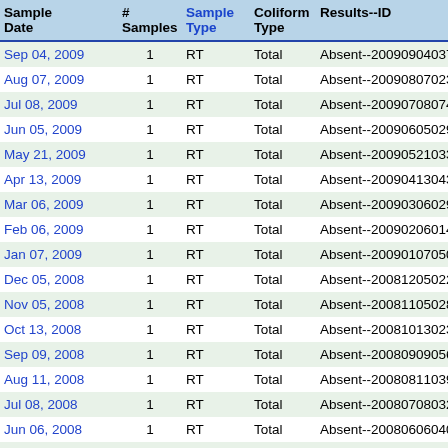| Sample Date | # Samples | Sample Type | Coliform Type | Results--ID | Sa ID |
| --- | --- | --- | --- | --- | --- |
| Sep 04, 2009 | 1 | RT | Total | Absent--20090904037 |  |
| Aug 07, 2009 | 1 | RT | Total | Absent--20090807023 |  |
| Jul 08, 2009 | 1 | RT | Total | Absent--20090708074 |  |
| Jun 05, 2009 | 1 | RT | Total | Absent--20090605029 |  |
| May 21, 2009 | 1 | RT | Total | Absent--20090521033 |  |
| Apr 13, 2009 | 1 | RT | Total | Absent--20090413043 |  |
| Mar 06, 2009 | 1 | RT | Total | Absent--20090306029 |  |
| Feb 06, 2009 | 1 | RT | Total | Absent--20090206014 |  |
| Jan 07, 2009 | 1 | RT | Total | Absent--20090107050 |  |
| Dec 05, 2008 | 1 | RT | Total | Absent--20081205022 |  |
| Nov 05, 2008 | 1 | RT | Total | Absent--20081105028 |  |
| Oct 13, 2008 | 1 | RT | Total | Absent--20081013023 |  |
| Sep 09, 2008 | 1 | RT | Total | Absent--20080909056 |  |
| Aug 11, 2008 | 1 | RT | Total | Absent--20080811039 |  |
| Jul 08, 2008 | 1 | RT | Total | Absent--20080708032 |  |
| Jun 06, 2008 | 1 | RT | Total | Absent--20080606040 |  |
| May 07, 2008 | 1 | RT | Total | Absent--20080507043 |  |